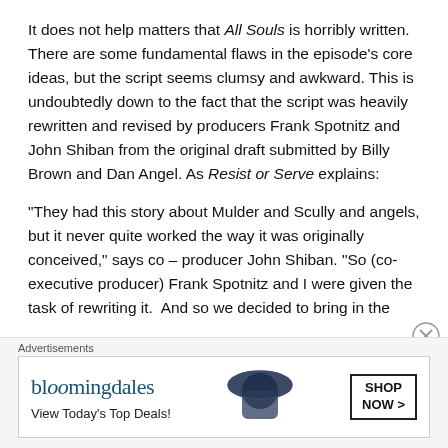It does not help matters that All Souls is horribly written. There are some fundamental flaws in the episode's core ideas, but the script seems clumsy and awkward. This is undoubtedly down to the fact that the script was heavily rewritten and revised by producers Frank Spotnitz and John Shiban from the original draft submitted by Billy Brown and Dan Angel. As Resist or Serve explains:
“They had this story about Mulder and Scully and angels, but it never quite worked the way it was originally conceived,” says co – producer John Shiban. “So (co-executive producer) Frank Spotnitz and I were given the task of rewriting it.  And so we decided to bring in the
Advertisements
[Figure (other): Bloomingdale's advertisement banner with logo, tagline 'View Today's Top Deals!' and 'SHOP NOW >' button, with image of woman in hat.]